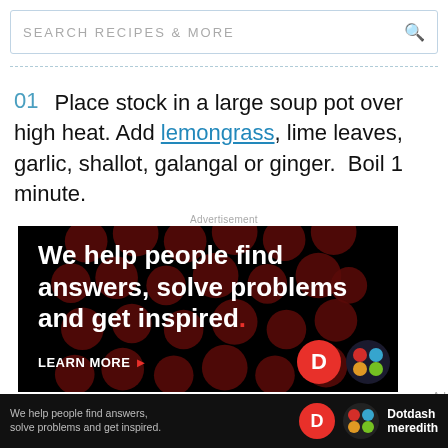SEARCH RECIPES & MORE
01  Place stock in a large soup pot over high heat. Add lemongrass, lime leaves, garlic, shallot, galangal or ginger. Boil 1 minute.
Advertisement
[Figure (photo): Advertisement banner with black background and dark red polka dots. Large white bold text reads: 'We help people find answers, solve problems and get inspired.' with a red period. Below is 'LEARN MORE' with arrow. Dotdash Meredith logos at bottom right.]
[Figure (photo): Bottom bar advertisement: 'We help people find answers, solve problems and get inspired.' with Dotdash Meredith logo on dark background.]